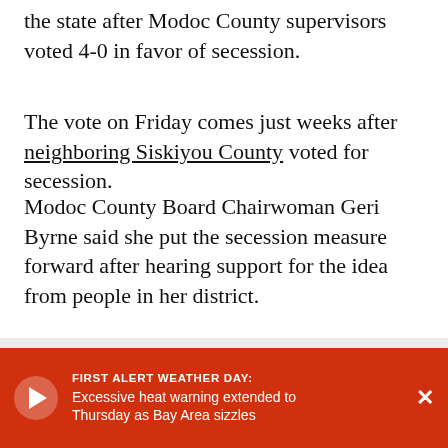the state after Modoc County supervisors voted 4-0 in favor of secession.
The vote on Friday comes just weeks after neighboring Siskiyou County voted for secession.
Modoc County Board Chairwoman Geri Byrne said she put the secession measure forward after hearing support for the idea from people in her district.
"We're not saying we're seceding today, we're saying let's look into it," Byrne said.
The goal is to form a that would also incl The idea for the sta
[Figure (other): Red breaking news overlay banner reading 'FIRST ALERT WEATHER DAY: Excessive heat warning extended to Thursday as Bay Area sizzles' with a play button and close X]